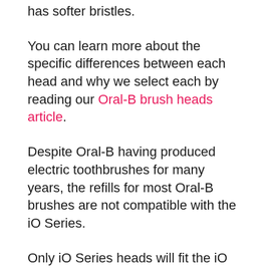has softer bristles.
You can learn more about the specific differences between each head and why we select each by reading our Oral-B brush heads article.
Despite Oral-B having produced electric toothbrushes for many years, the refills for most Oral-B brushes are not compatible with the iO Series.
Only iO Series heads will fit the iO Series 4.
The heads compatible with the Vitality, Pro, Smart and Genius series do not fit the iO4.